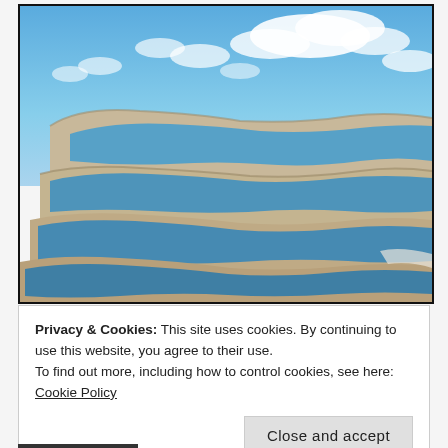[Figure (photo): Aerial photograph of Pamukkale-style white travertine terraces filled with blue mineral water, against a partly cloudy blue sky. The terraces form stepped layers of white/beige limestone with irregularly shaped blue pools.]
Privacy & Cookies: This site uses cookies. By continuing to use this website, you agree to their use.
To find out more, including how to control cookies, see here: Cookie Policy
Close and accept